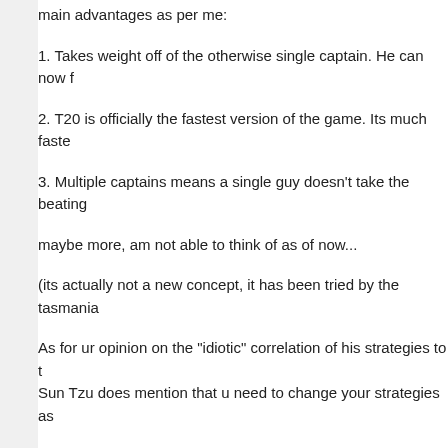main advantages as per me:
1. Takes weight off of the otherwise single captain. He can now f
2. T20 is officially the fastest version of the game. Its much faste
3. Multiple captains means a single guy doesn't take the beating
maybe more, am not able to think of as of now...
(its actually not a new concept, it has been tried by the tasmania
As for ur opinion on the "idiotic" correlation of his strategies to t Sun Tzu does mention that u need to change your strategies as
As for ur "kepler wessels" argument, all i wanna say is - stuff alw
And could u please post where u took ur IQ test? :) i wanna che
-anush
Reply
Viji   April 16, 2009 at 12:12 AM